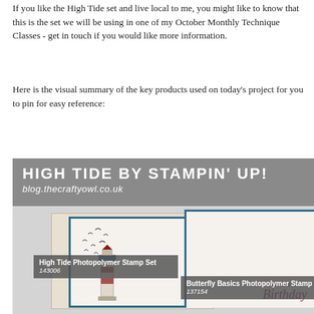If you like the High Tide set and live local to me, you might like to know that this is the set we will be using in one of my October Monthly Technique Classes - get in touch if you would like more information.
Here is the visual summary of the key products used on today's project for you to pin for easy reference:
[Figure (infographic): Infographic banner for 'High Tide by Stampin' Up!' with blog URL blog.thecraftyowl.co.uk, showing two stamped cards: one with a lighthouse and seagulls image, and one with 'Happy Birthday' script. Product labels overlay: 'High Tide Photopolymer Stamp Set 143006' and 'Butterfly Basics Photopolymer Stamp 137154'.]